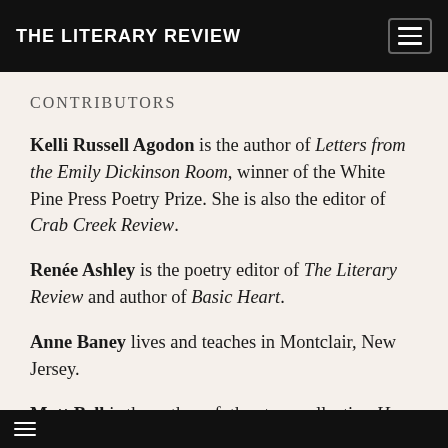THE LITERARY REVIEW
CONTRIBUTORS
Kelli Russell Agodon is the author of Letters from the Emily Dickinson Room, winner of the White Pine Press Poetry Prize. She is also the editor of Crab Creek Review.
Renée Ashley is the poetry editor of The Literary Review and author of Basic Heart.
Anne Baney lives and teaches in Montclair, New Jersey.
Matt Bell is the author of the story collection How